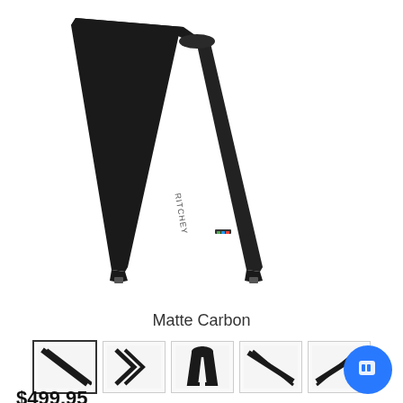[Figure (photo): A black matte carbon bicycle fork (Ritchey brand) shown diagonally against a white background. The fork is a road/track fork with two blades meeting at the crown, and open dropouts at the bottom. 'RITCHEY' branding visible on the blade.]
Matte Carbon
[Figure (photo): Row of 5 product thumbnail images showing different views of a black carbon bicycle fork]
$499.95